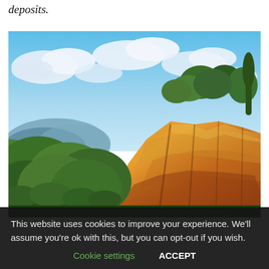deposits.
[Figure (photo): Outdoor landscape photo showing orange-red ochre rock cliffs with green trees on top, blue sky with white clouds in the background, and green forested hills in the distance. HDR-style photography.]
This website uses cookies to improve your experience. We'll assume you're ok with this, but you can opt-out if you wish.
Cookie settings   ACCEPT